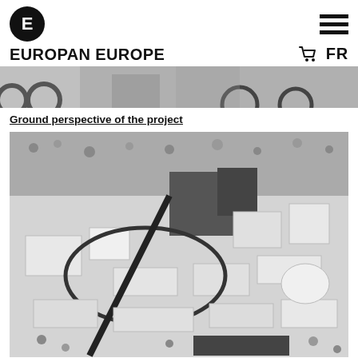EUROPAN EUROPE
[Figure (photo): Black and white photograph showing bicycle wheels and street-level perspective, used as a banner image]
Ground perspective of the project
[Figure (photo): Black and white aerial/bird's-eye view photograph of an architectural urban planning model showing buildings, streets, trees, and a circular road element]